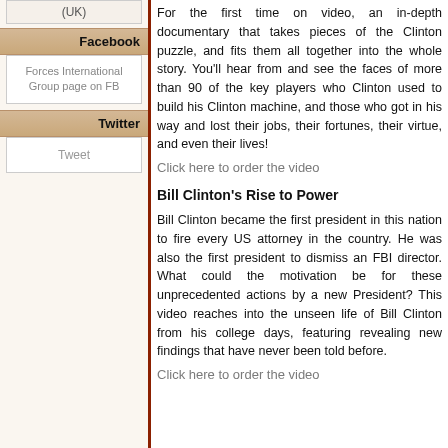(UK)
Facebook
Forces International Group page on FB
Twitter
Tweet
For the first time on video, an in-depth documentary that takes pieces of the Clinton puzzle, and fits them all together into the whole story. You'll hear from and see the faces of more than 90 of the key players who Clinton used to build his Clinton machine, and those who got in his way and lost their jobs, their fortunes, their virtue, and even their lives!
Click here to order the video
Bill Clinton's Rise to Power
Bill Clinton became the first president in this nation to fire every US attorney in the country. He was also the first president to dismiss an FBI director. What could the motivation be for these unprecedented actions by a new President? This video reaches into the unseen life of Bill Clinton from his college days, featuring revealing new findings that have never been told before.
Click here to order the video